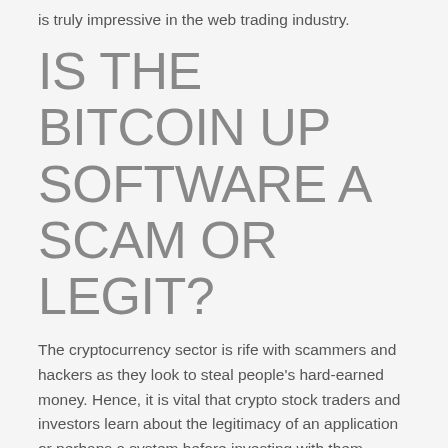is truly impressive in the web trading industry.
IS THE BITCOIN UP SOFTWARE A SCAM OR LEGIT?
The cryptocurrency sector is rife with scammers and hackers as they look to steal people's hard-earned money. Hence, it is vital that crypto stock traders and investors learn about the legitimacy of an application or perhaps a system before investing with them.
We had to determine whether the Bitcoin Up application is for real or just another scam product. We used the application for an extended period, and we can conclude that the program is a legit auto-trading system for cryptocurrency traders. The Bitcoin Up app delivered the profits as advertised, and it was very user-friendly.